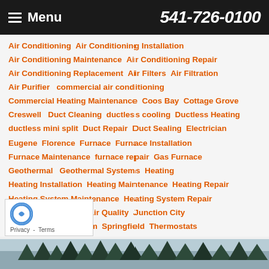Menu  541-726-0100
Air Conditioning  Air Conditioning Installation  Air Conditioning Maintenance  Air Conditioning Repair  Air Conditioning Replacement  Air Filters  Air Filtration  Air Purifier  commercial air conditioning  Commercial Heating Maintenance  Coos Bay  Cottage Grove  Creswell  Duct Cleaning  ductless cooling  Ductless Heating  ductless mini split  Duct Repair  Duct Sealing  Electrician  Eugene  Florence  Furnace  Furnace Installation  Furnace Maintenance  furnace repair  Gas Furnace  Geothermal  Geothermal Systems  Heating  Heating Installation  Heating Maintenance  Heating Repair  Heating System Maintenance  Heating System Repair  Heat Pumps  Indoor Air Quality  Junction City  Radiant Heating  Salem  Springfield  Thermostats
[Figure (other): reCAPTCHA logo with Privacy and Terms links]
[Figure (photo): Background photo of trees at bottom of page]